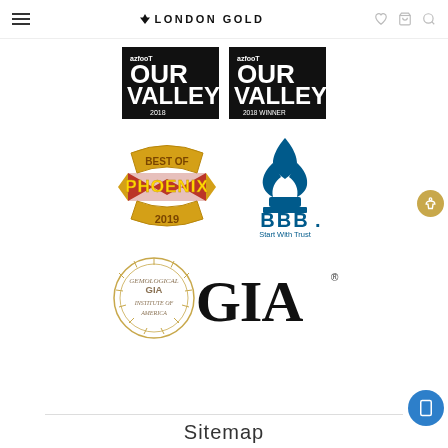London Gold
[Figure (logo): AZFootprint Our Valley 2018 badge - black background with white text]
[Figure (logo): AZFootprint Our Valley 2018 Winner badge - black background with white text]
[Figure (logo): Best of Phoenix 2019 award logo]
[Figure (logo): BBB Better Business Bureau - Start With Trust logo in blue]
[Figure (logo): GIA Gemological Institute of America logo with circular seal and large GIA text]
Sitemap